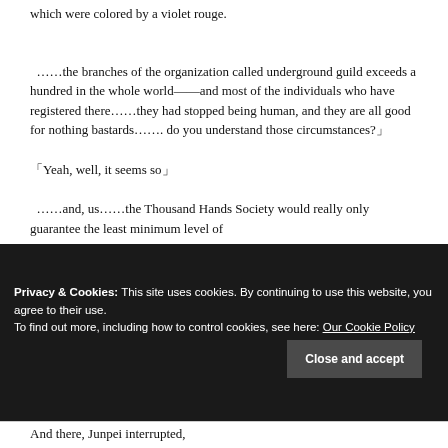which were colored by a violet rouge.
……the branches of the organization called underground guild exceeds a hundred in the whole world――and most of the individuals who have registered there……they had stopped being human, and they are all good for nothing bastards……. do you understand those circumstances?」
「Yeah, well, it seems so」
……and, us……the Thousand Hands Society would really only guarantee the least minimum level of
Privacy & Cookies: This site uses cookies. By continuing to use this website, you agree to their use.
To find out more, including how to control cookies, see here: Our Cookie Policy
Close and accept
And there, Junpei interrupted,